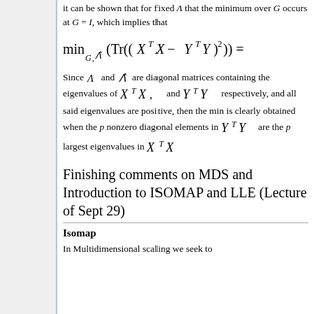it can be shown that for fixed Λ that the minimum over G occurs at G = I, which implies that
Since Λ and Λ̂ are diagonal matrices containing the eigenvalues of X^T X, and Y^T Y respectively, and all said eigenvalues are positive, then the min is clearly obtained when the p nonzero diagonal elements in Y^T Y are the p largest eigenvalues in X^T X
Finishing comments on MDS and Introduction to ISOMAP and LLE (Lecture of Sept 29)
Isomap
In Multidimensional scaling we seek to